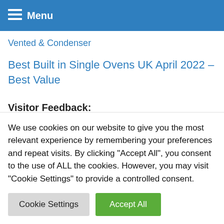Menu
Vented & Condenser
Best Built in Single Ovens UK April 2022 – Best Value
Visitor Feedback:
Gaurav Gaur on Best Washing Machines UK April 2022 – Top 7
We use cookies on our website to give you the most relevant experience by remembering your preferences and repeat visits. By clicking "Accept All", you consent to the use of ALL the cookies. However, you may visit "Cookie Settings" to provide a controlled consent.